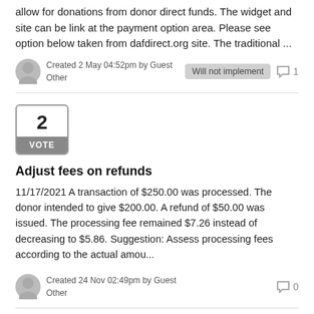allow for donations from donor direct funds. The widget and site can be link at the payment option area. Please see option below taken from dafdirect.org site. The traditional ...
Created 2 May 04:52pm by Guest
Other
Will not implement
1
[Figure (other): Vote box showing number 2 with VOTE label]
Adjust fees on refunds
11/17/2021 A transaction of $250.00 was processed. The donor intended to give $200.00. A refund of $50.00 was issued. The processing fee remained $7.26 instead of decreasing to $5.86. Suggestion: Assess processing fees according to the actual amou...
Created 24 Nov 02:49pm by Guest
Other
0
[Figure (other): Vote box showing number 2 (partial, at bottom of page)]